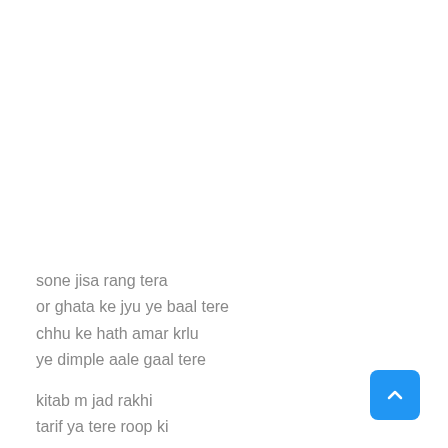sone jisa rang tera
or ghata ke jyu ye baal tere
chhu ke hath amar krlu
ye dimple aale gaal tere

kitab m jad rakhi
tarif ya tere roop ki